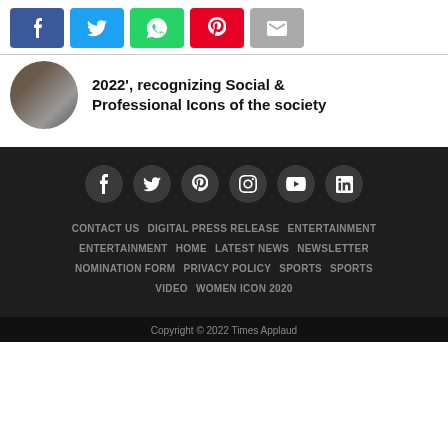[Figure (other): Social sharing buttons: Facebook (blue), Twitter (cyan), WhatsApp (green), Pinterest (red), Email (grey)]
2022', recognizing Social & Professional Icons of the society
[Figure (other): Footer social media icons: Facebook, Twitter, Pinterest, Instagram, YouTube, LinkedIn]
CONTACT US  DIGITAL PRESS RELEASE  ENTERTAINMENT  ENTERTAINMENT  HOME  LATEST NEWS  NEWSLETTER  NOMINATION FORM  PRIVACY POLICY  SPORTS  SPORTS VIDEO  WOMEN ICON 2020
Copyright © 2022 Times Applaud